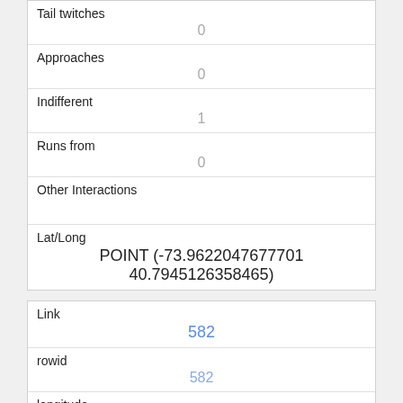| Tail twitches | 0 |
| Approaches | 0 |
| Indifferent | 1 |
| Runs from | 0 |
| Other Interactions |  |
| Lat/Long | POINT (-73.9622047677701 40.7945126358465) |
| Link | 582 |
| rowid | 582 |
| longitude | -73.9677779408464 |
| latitude |  |